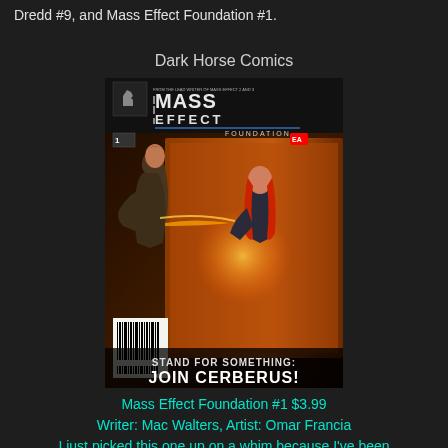Dredd #9, and Mass Effect Foundation #1.
Dark Horse Comics
[Figure (photo): Comic book cover of Mass Effect Foundation #1, showing two figures in a dramatic confrontation. Text reads 'FROM THE LEAD WRITER OF MASS EFFECT 2 AND 3', 'MASS EFFECT FOUNDATION', issue #1, and 'STAND FOR SOMETHING: JOIN CERBERUS!']
Mass Effect Foundation #1 $3.99
Writer: Mac Walters, Artist: Omar Francia
I just picked this one up on a whim because I've been